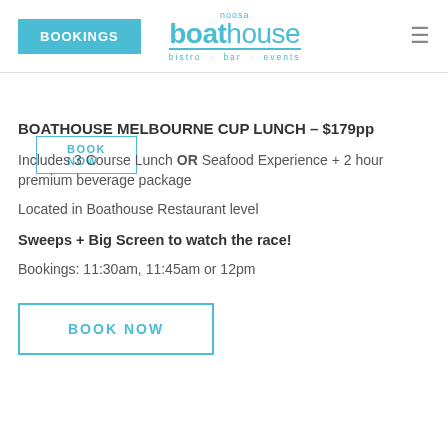noosa boathouse bistro · bar · events
BOATHOUSE MELBOURNE CUP LUNCH – $179pp
Includes 3 Course Lunch OR Seafood Experience + 2 hour premium beverage package
Located in Boathouse Restaurant level
Sweeps + Big Screen to watch the race!
Bookings: 11:30am, 11:45am or 12pm
BOOK NOW